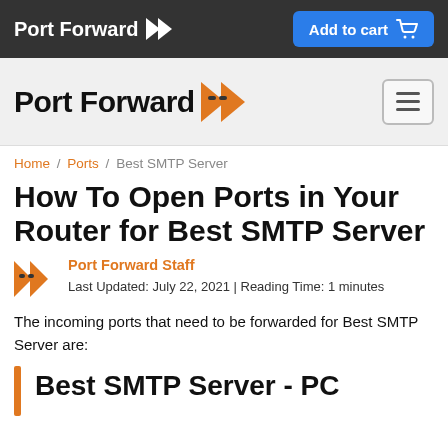Port Forward | Add to cart
Port Forward navigation bar
Home / Ports / Best SMTP Server
How To Open Ports in Your Router for Best SMTP Server
Port Forward Staff
Last Updated: July 22, 2021 | Reading Time: 1 minutes
The incoming ports that need to be forwarded for Best SMTP Server are:
Best SMTP Server - PC